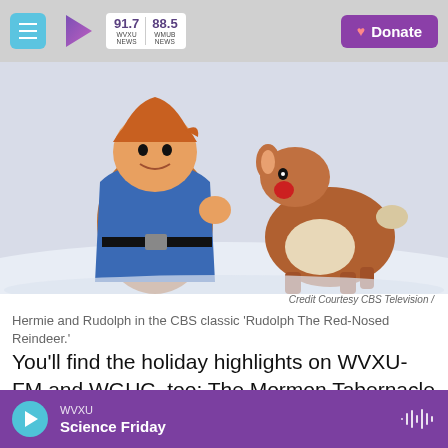WVXU 91.7 NEWS | WMUB 88.5 NEWS | Donate
[Figure (photo): Hermie and Rudolph characters from the CBS stop-motion animation classic 'Rudolph The Red-Nosed Reindeer.' Hermie is shown in a blue coat and Rudolph is a young reindeer with a red nose.]
Credit Courtesy CBS Television /
Hermie and Rudolph in the CBS classic 'Rudolph The Red-Nosed Reindeer.'
You'll find the holiday highlights on WVXU-FM and WGUC, too: The Mormon Tabernacle Choir, Festival Of Carols, Swing with Bill Cartwright, Around
WVXU | Science Friday